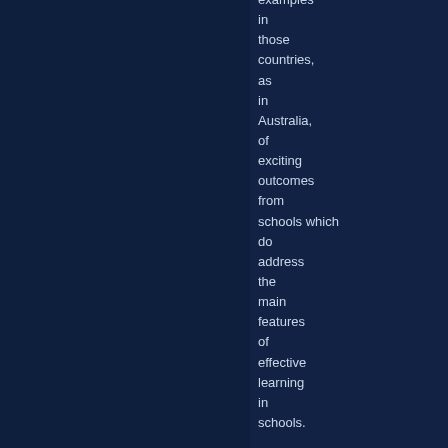examples in those countries, as in Australia, of exciting outcomes from schools which do address the main features of effective learning in schools.